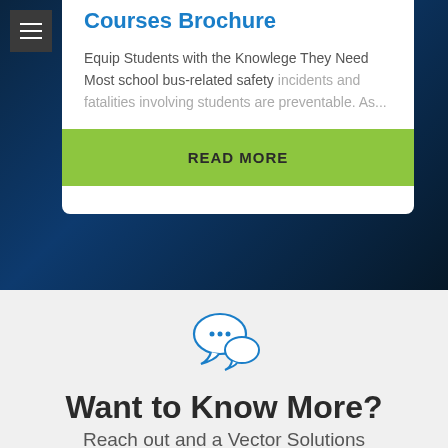Courses Brochure
Equip Students with the Knowlege They Need Most school bus-related safety incidents and fatalities involving students are preventable. As...
READ MORE
[Figure (illustration): Chat/speech bubble icon in blue outline style with three dots indicating conversation]
Want to Know More?
Reach out and a Vector Solutions